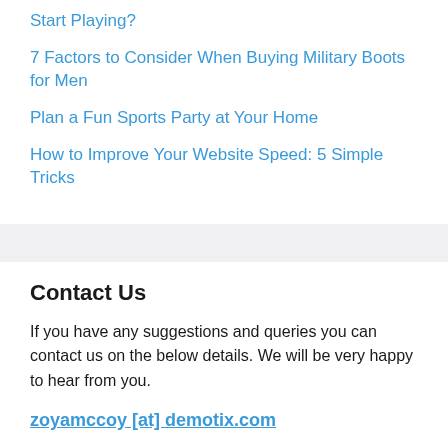Start Playing?
7 Factors to Consider When Buying Military Boots for Men
Plan a Fun Sports Party at Your Home
How to Improve Your Website Speed: 5 Simple Tricks
Contact Us
If you have any suggestions and queries you can contact us on the below details. We will be very happy to hear from you.
zoyamccoy [at] demotix.com